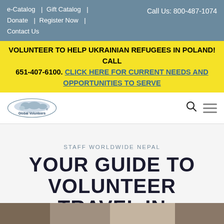e-Catalog | Gift Catalog | Donate | Register Now | Contact Us | Call Us: 800-487-1074
VOLUNTEER TO HELP UKRAINIAN REFUGEES IN POLAND! CALL 651-407-6100. CLICK HERE FOR CURRENT NEEDS AND OPPORTUNITIES TO SERVE
[Figure (logo): Global Volunteers logo — oval shape with world map graphic and text 'Global Volunteers']
STAFF WORLDWIDE NEPAL
YOUR GUIDE TO VOLUNTEER TRAVEL IN NEPAL
[Figure (photo): Bottom photo strip showing volunteers in Nepal, partially visible]